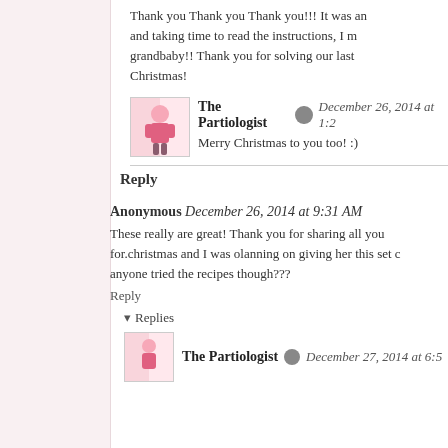Thank you Thank you Thank you!!! It was an and taking time to read the instructions, I m grandbaby!! Thank you for solving our last Christmas!
[Figure (photo): Small avatar image for The Partiologist blogger]
The Partiologist  December 26, 2014 at 1:2
Merry Christmas to you too! :)
Reply
Anonymous  December 26, 2014 at 9:31 AM
These really are great! Thank you for sharing all you for.christmas and I was olanning on giving her this set c anyone tried the recipes though???
Reply
Replies
[Figure (photo): Small avatar image for The Partiologist blogger at bottom]
The Partiologist  December 27, 2014 at 6:5